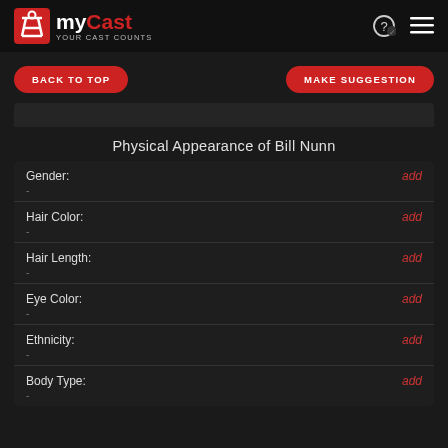myCast - Your Cast Counts
BACK TO TOP
MAKE SUGGESTION
Physical Appearance of Bill Nunn
| Field | Value | Action |
| --- | --- | --- |
| Gender: | - | add |
| Hair Color: | - | add |
| Hair Length: | - | add |
| Eye Color: | - | add |
| Ethnicity: | - | add |
| Body Type: | - | add |